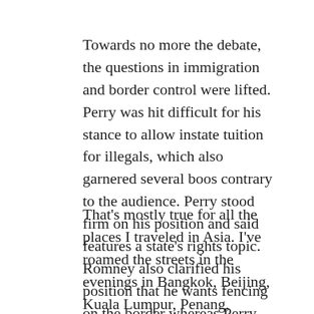Towards no more the debate, the questions in immigration and border control were lifted. Perry was hit difficult for his stance to allow instate tuition for illegals, which also garnered several boos contrary to the audience. Perry stood firm on his position and said features a state's rights topic. Romney also clarified his position that he wants fencing on the border whereas Perry says a fence on the actual border isn't feasible.
That's mostly true for all the places I traveled in Asia. I've roamed the streets in the evenings in Bangkok, Beijing, Kuala Lumpur, Penang, Pattaya, Hong Kong, Manila, Nagasaki, Fukuoka and a lot of other places where I didn't speak location language and didn't know anybody. We never once felt risky.